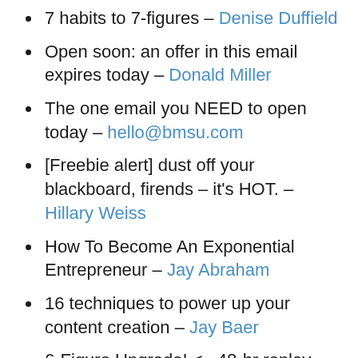7 habits to 7-figures – Denise Duffield
Open soon: an offer in this email expires today – Donald Miller
The one email you NEED to open today – hello@bmsu.com
[Freebie alert] dust off your blackboard, firends – it's HOT. – Hillary Weiss
How To Become An Exponential Entrepreneur – Jay Abraham
16 techniques to power up your content creation – Jay Baer
6-Figure Upgrade! <– 48-hr replay access – Jeanna Gabellini